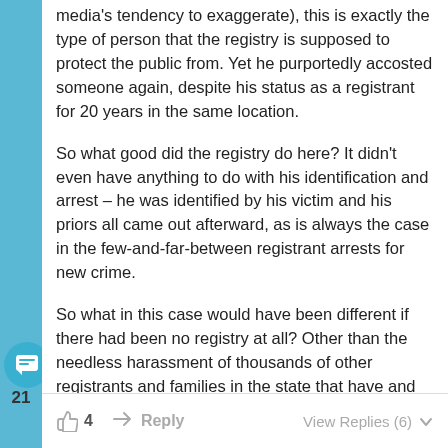media's tendency to exaggerate), this is exactly the type of person that the registry is supposed to protect the public from. Yet he purportedly accosted someone again, despite his status as a registrant for 20 years in the same location.
So what good did the registry do here? It didn't even have anything to do with his identification and arrest – he was identified by his victim and his priors all came out afterward, as is always the case in the few-and-far-between registrant arrests for new crime.
So what in this case would have been different if there had been no registry at all? Other than the needless harassment of thousands of other registrants and families in the state that have and will never get arrested again for anything beyond registry violations.
4  Reply  View Replies (6)